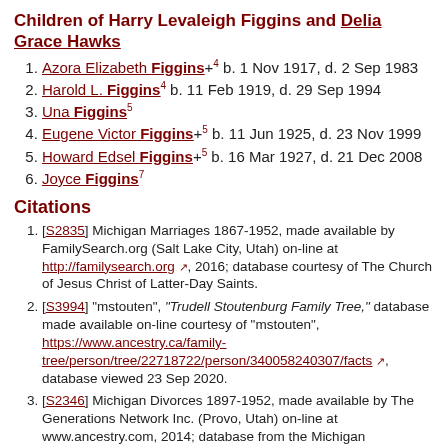Children of Harry Levaleigh Figgins and Delia Grace Hawks
Azora Elizabeth Figgins+4 b. 1 Nov 1917, d. 2 Sep 1983
Harold L. Figgins4 b. 11 Feb 1919, d. 29 Sep 1994
Una Figgins5
Eugene Victor Figgins+5 b. 11 Jun 1925, d. 23 Nov 1999
Howard Edsel Figgins+5 b. 16 Mar 1927, d. 21 Dec 2008
Joyce Figgins7
Citations
[S2835] Michigan Marriages 1867-1952, made available by FamilySearch.org (Salt Lake City, Utah) on-line at http://familysearch.org, 2016; database courtesy of The Church of Jesus Christ of Latter-Day Saints.
[S3994] "mstouten", "Trudell Stoutenburg Family Tree," database made available on-line courtesy of "mstouten", https://www.ancestry.ca/family-tree/person/tree/22718722/person/340058240307/facts, database viewed 23 Sep 2020.
[S2346] Michigan Divorces 1897-1952, made available by The Generations Network Inc. (Provo, Utah) on-line at www.ancestry.com, 2014; database from the Michigan Department